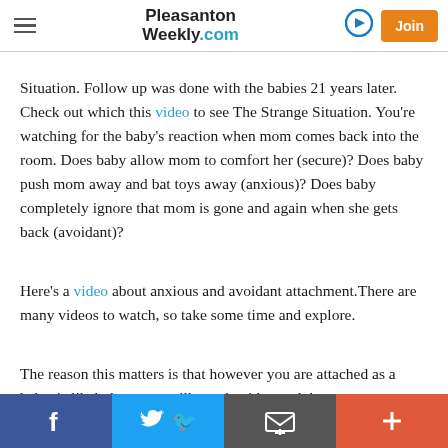Pleasanton Weekly.com
Situation. Follow up was done with the babies 21 years later. Check out which this video to see The Strange Situation. You’re watching for the baby’s reaction when mom comes back into the room. Does baby allow mom to comfort her (secure)? Does baby push mom away and bat toys away (anxious)? Does baby completely ignore that mom is gone and again when she gets back (avoidant)?
Here’s a video about anxious and avoidant attachment.There are many videos to watch, so take some time and explore.
The reason this matters is that however you are attached as a baby, is likely how you will attach with an adult
f  Twitter  Email  +